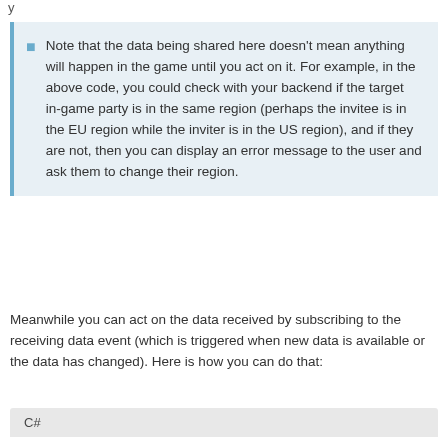y
Note that the data being shared here doesn't mean anything will happen in the game until you act on it. For example, in the above code, you could check with your backend if the target in-game party is in the same region (perhaps the invitee is in the EU region while the inviter is in the US region), and if they are not, then you can display an error message to the user and ask them to change their region.
Meanwhile you can act on the data received by subscribing to the receiving data event (which is triggered when new data is available or the data has changed). Here is how you can do that:
C#